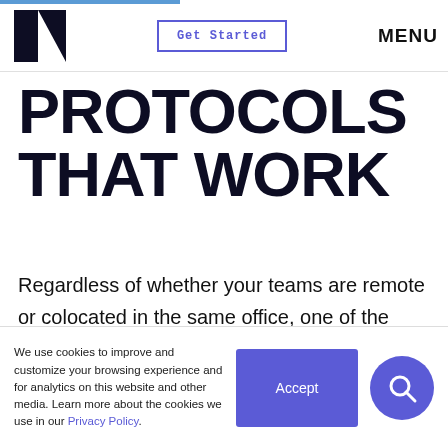Get Started | MENU
PROTOCOLS THAT WORK
Regardless of whether your teams are remote or colocated in the same office, one of the distinct features of remote work is that it forces you to think about how you structure productive collaboration by way of asynchronous and synchronous communication.
We use cookies to improve and customize your browsing experience and for analytics on this website and other media. Learn more about the cookies we use in our Privacy Policy.